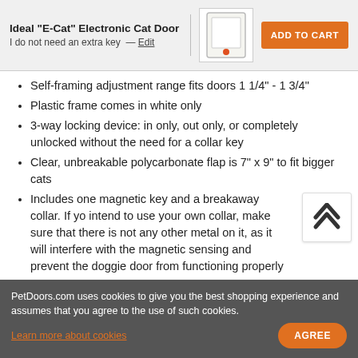Ideal "E-Cat" Electronic Cat Door
I do not need an extra key — Edit
Self-framing adjustment range fits doors 1 1/4" - 1 3/4"
Plastic frame comes in white only
3-way locking device: in only, out only, or completely unlocked without the need for a collar key
Clear, unbreakable polycarbonate flap is 7" x 9" to fit bigger cats
Includes one magnetic key and a breakaway collar. If you intend to use your own collar, make sure that there is not any other metal on it, as it will interfere with the magnetic sensing and prevent the doggie door from functioning properly
Operates on a 9-volt battery (not included)
PetDoors.com uses cookies to give you the best shopping experience and assumes that you agree to the use of such cookies.
Learn more about cookies